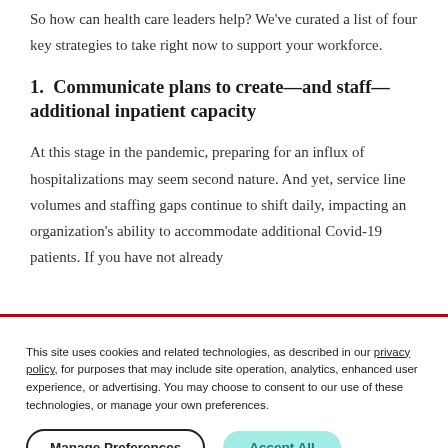So how can health care leaders help? We've curated a list of four key strategies to take right now to support your workforce.
1.  Communicate plans to create—and staff—additional inpatient capacity
At this stage in the pandemic, preparing for an influx of hospitalizations may seem second nature. And yet, service line volumes and staffing gaps continue to shift daily, impacting an organization's ability to accommodate additional Covid-19 patients. If you have not already
This site uses cookies and related technologies, as described in our privacy policy, for purposes that may include site operation, analytics, enhanced user experience, or advertising. You may choose to consent to our use of these technologies, or manage your own preferences.